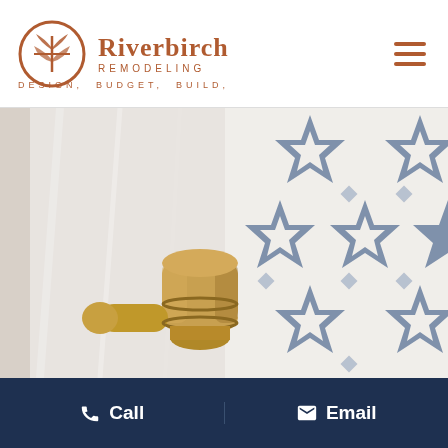[Figure (logo): Riverbirch Remodeling logo with circular emblem and text. Tagline: DESIGN. BUDGET. BUILD.]
[Figure (photo): Close-up bathroom photo showing a gold/brass shower fixture against white and blue star-patterned decorative tiles]
Call   Email